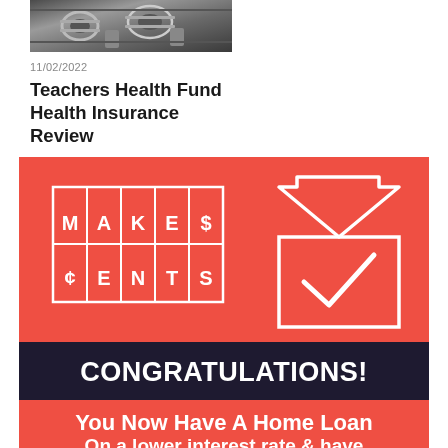[Figure (photo): Close-up photo of motorcycle engine/mechanical parts, shown at top left]
11/02/2022
Teachers Health Fund Health Insurance Review
[Figure (infographic): Makes $ents / Make Cents branded banner advertisement with red and dark navy background. Shows the MAKE$CENTS logo in a grid, a house icon with checkmark, text reading CONGRATULATIONS! You Now Have A Home Loan, On a lower interest rate & have...]